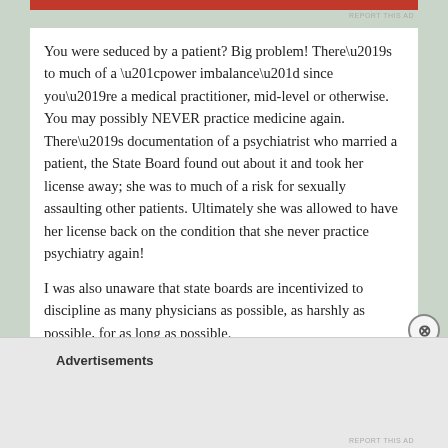You were seduced by a patient?  Big problem!  There’s to much of a “power imbalance” since you’re a medical practitioner, mid-level or otherwise.  You may possibly NEVER practice medicine again.  There’s documentation of a psychiatrist who married a patient, the State Board found out about it and took her license away; she was to much of a risk for sexually assaulting other patients.  Ultimately she was allowed to have her license back on the condition that she never practice psychiatry again!
I was also unaware that state boards are incentivized to discipline as many physicians as possible, as harshly as possible, for as long as possible.
I was indeed one of the innocents.
Advertisements